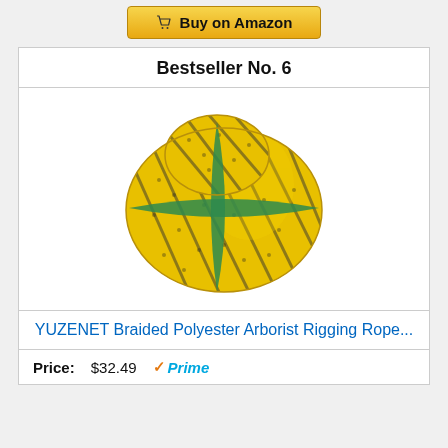[Figure (other): Buy on Amazon button with shopping cart icon]
Bestseller No. 6
[Figure (photo): Coiled yellow and black braided polyester rope bundled with green straps]
YUZENET Braided Polyester Arborist Rigging Rope...
Price: $32.49 Prime